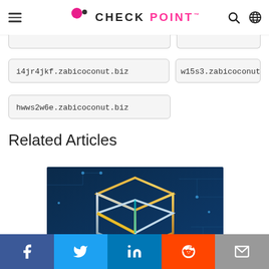CHECK POINT (logo)
i4jr4jkf.zabicoconut.biz
w15s3.zabicoconut (truncated)
hwws2w6e.zabicoconut.biz
Related Articles
[Figure (photo): 3D golden blockchain cube structure on dark blue circuit board background]
Social share bar: Facebook, Twitter, LinkedIn, Reddit, Email